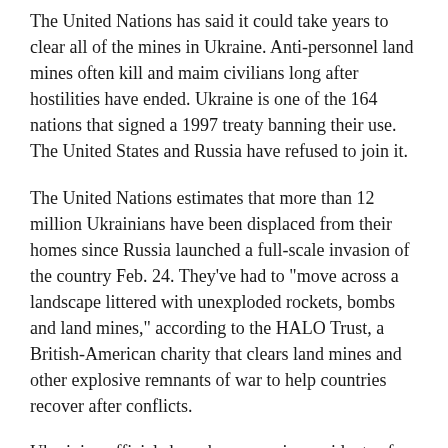The United Nations has said it could take years to clear all of the mines in Ukraine. Anti-personnel land mines often kill and maim civilians long after hostilities have ended. Ukraine is one of the 164 nations that signed a 1997 treaty banning their use. The United States and Russia have refused to join it.
The United Nations estimates that more than 12 million Ukrainians have been displaced from their homes since Russia launched a full-scale invasion of the country Feb. 24. They've had to "move across a landscape littered with unexploded rockets, bombs and land mines," according to the HALO Trust, a British-American charity that clears land mines and other explosive remnants of war to help countries recover after conflicts.
Ukrainian officials have been warning residents of the dangers of explosives since reports emerged that retreating Russian forces left buried land mines and rigged bombs...